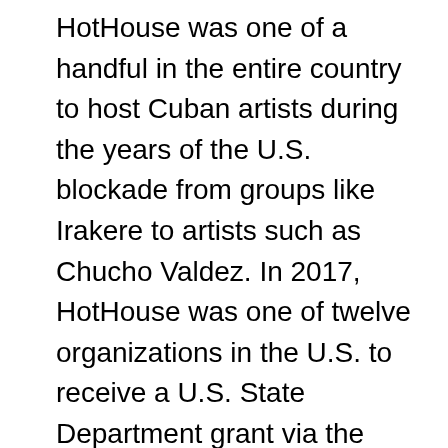HotHouse was one of a handful in the entire country to host Cuban artists during the years of the U.S. blockade from groups like Irakere to artists such as Chucho Valdez. In 2017, HotHouse was one of twelve organizations in the U.S. to receive a U.S. State Department grant via the Embassy in Havana to create the Chicago-Guantanamo Blues Exchange. In March, HotHouse developed an online streaming initiative to serve the NGO, small